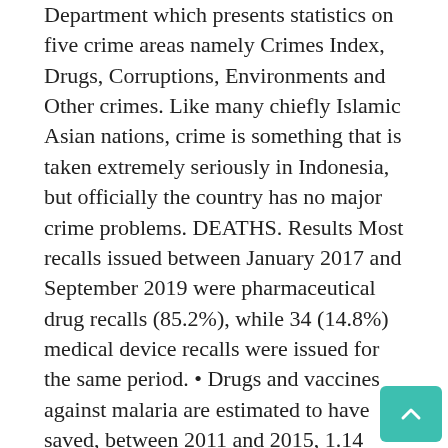Department which presents statistics on five crime areas namely Crimes Index, Drugs, Corruptions, Environments and Other crimes. Like many chiefly Islamic Asian nations, crime is something that is taken extremely seriously in Indonesia, but officially the country has no major crime problems. DEATHS. Results Most recalls issued between January 2017 and September 2019 were pharmaceutical drug recalls (85.2%), while 34 (14.8%) medical device recalls were issued for the same period. • Drugs and vaccines against malaria are estimated to have saved, between 2011 and 2015, 1.14 million African children's lives. Mexico and the United Nations Office on Drugs and Crime on a ro ad map to improve the quality and availability of crime statistics at the national and international levels (19 December 2012). Indonesia is plagued by an epidemic of drug abuse. Get the latest trends and understand the impact of the crisis on the market. Data Accuracy Not Guaranteed WHO Excludes Cause of Death Data For the following countries: Andorra, Cook Islands, Dominica . Indonesia Field Report II